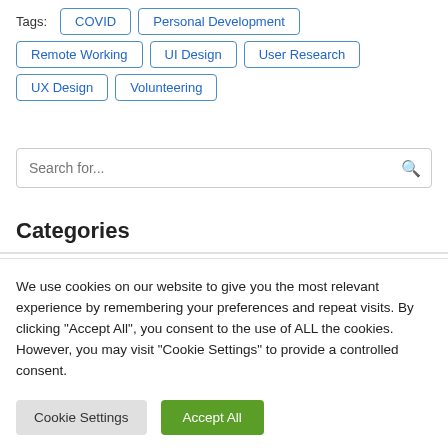Tags: COVID | Personal Development | Remote Working | UI Design | User Research | UX Design | Volunteering
Search for...
Categories
We use cookies on our website to give you the most relevant experience by remembering your preferences and repeat visits. By clicking “Accept All”, you consent to the use of ALL the cookies. However, you may visit "Cookie Settings" to provide a controlled consent.